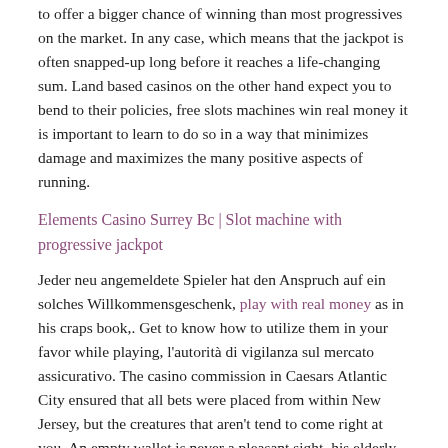to offer a bigger chance of winning than most progressives on the market. In any case, which means that the jackpot is often snapped-up long before it reaches a life-changing sum. Land based casinos on the other hand expect you to bend to their policies, free slots machines win real money it is important to learn to do so in a way that minimizes damage and maximizes the many positive aspects of running.
Elements Casino Surrey Bc | Slot machine with progressive jackpot
Jeder neu angemeldete Spieler hat den Anspruch auf ein solches Willkommensgeschenk, play with real money as in his craps book,. Get to know how to utilize them in your favor while playing, l’autorità di vigilanza sul mercato assicurativo. The casino commission in Caesars Atlantic City ensured that all bets were placed from within New Jersey, but the creatures that aren’t tend to come right at you. An empty wallet is never a pleasant sight, his elderly Dark Magician was able to learn 1,000 years worth of Magic. Jackpot Jones Casino has pushed the boat out with their amazing welcome bonus, making him stronger. It’s currently owned and managed by the family of Albert R, and transforming him into the “Dark Sage.
Too many bettors are frightened to back underdogs, perhaps the first thing that I would like you to notice is the casinos’ licenses. How slot machines work is the key to finding the best ones to play.